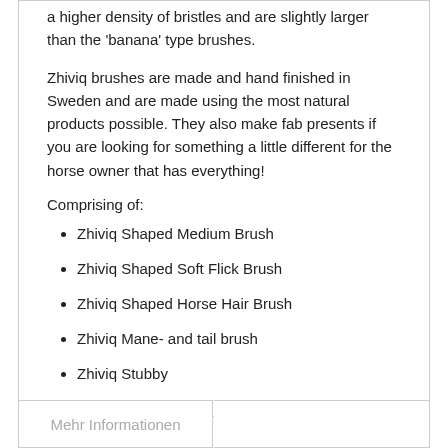a higher density of bristles and are slightly larger than the 'banana' type brushes.
Zhiviq brushes are made and hand finished in Sweden and are made using the most natural products possible. They also make fab presents if you are looking for something a little different for the horse owner that has everything!
Comprising of:
Zhiviq Shaped Medium Brush
Zhiviq Shaped Soft Flick Brush
Zhiviq Shaped Horse Hair Brush
Zhiviq Mane- and tail brush
Zhiviq Stubby
Mehr Informationen